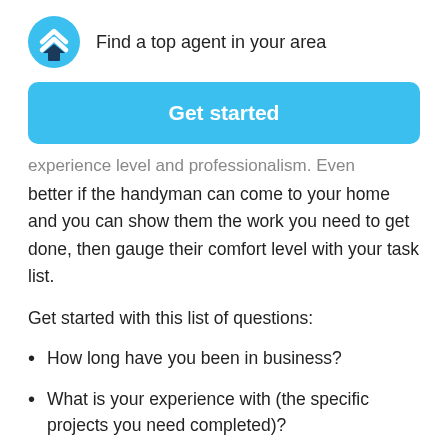Find a top agent in your area
Get started
experience level and professionalism. Even better if the handyman can come to your home and you can show them the work you need to get done, then gauge their comfort level with your task list.
Get started with this list of questions:
How long have you been in business?
What is your experience with (the specific projects you need completed)?